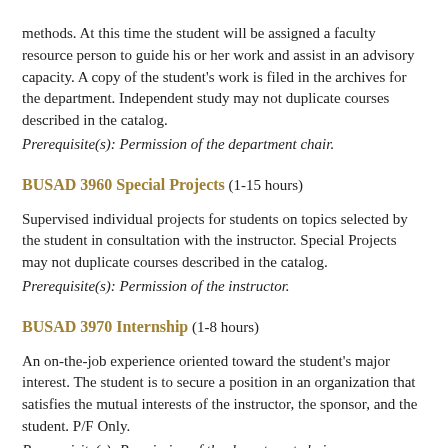methods. At this time the student will be assigned a faculty resource person to guide his or her work and assist in an advisory capacity. A copy of the student's work is filed in the archives for the department. Independent study may not duplicate courses described in the catalog.
Prerequisite(s): Permission of the department chair.
BUSAD 3960 Special Projects (1-15 hours)
Supervised individual projects for students on topics selected by the student in consultation with the instructor. Special Projects may not duplicate courses described in the catalog.
Prerequisite(s): Permission of the instructor.
BUSAD 3970 Internship (1-8 hours)
An on-the-job experience oriented toward the student's major interest. The student is to secure a position in an organization that satisfies the mutual interests of the instructor, the sponsor, and the student. P/F Only.
Prerequisite(s): Permission of the department chair.
BUSAD 4000 Bank Management (3 hours)